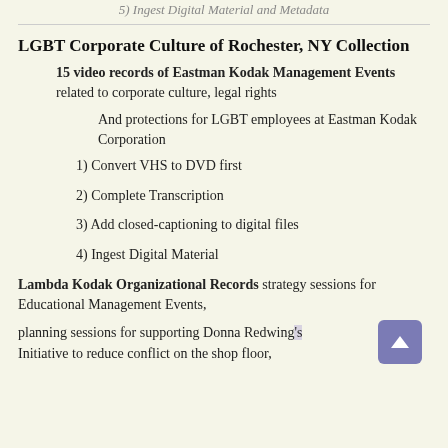5) Ingest Digital Material and Metadata
LGBT Corporate Culture of Rochester, NY Collection
15 video records of Eastman Kodak Management Events related to corporate culture, legal rights
And protections for LGBT employees at Eastman Kodak Corporation
1) Convert VHS to DVD first
2) Complete Transcription
3) Add closed-captioning to digital files
4) Ingest Digital Material
Lambda Kodak Organizational Records strategy sessions for Educational Management Events,
planning sessions for supporting Donna Redwing's Initiative to reduce conflict on the shop floor,